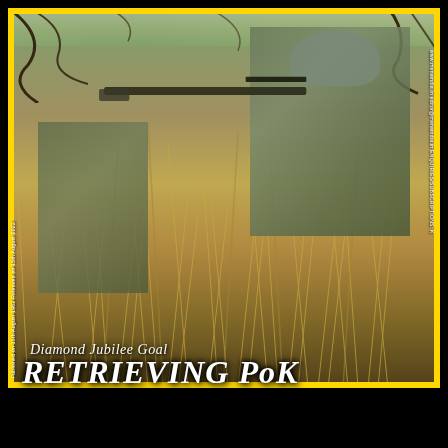[Figure (photo): Magazine cover showing Indian soldiers in camouflage uniforms and helmets moving through dense dry grass and brush in a combat exercise or patrol. The foreground soldier aims a rifle while another crouches behind. The setting is a scrubby outdoor terrain.]
Diamond Jubilee Goal
RETRIEVING PoK
Published on 15th August 1962  Released on 15th August 2022
www.menaindia.in  editor@menaindia.in  ENQUIRIES/SUBSCRIPTIONS: K